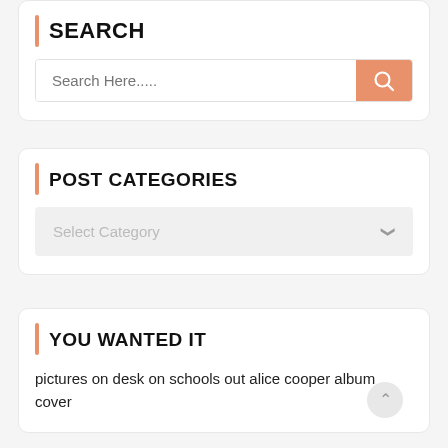SEARCH
[Figure (screenshot): Search input box with placeholder text 'Search Here.....' and an orange search button with magnifying glass icon]
POST CATEGORIES
[Figure (screenshot): Dropdown select box with placeholder 'Select Category' and a chevron on the right]
YOU WANTED IT
pictures on desk on schools out alice cooper album cover